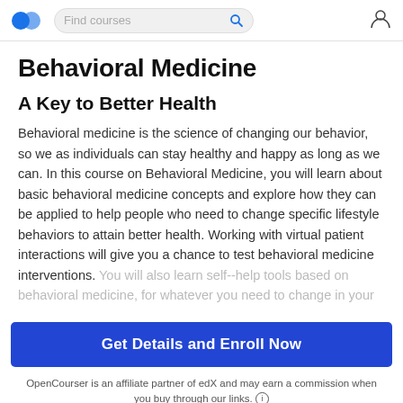Find courses
Behavioral Medicine
A Key to Better Health
Behavioral medicine is the science of changing our behavior, so we as individuals can stay healthy and happy as long as we can. In this course on Behavioral Medicine, you will learn about basic behavioral medicine concepts and explore how they can be applied to help people who need to change specific lifestyle behaviors to attain better health. Working with virtual patient interactions will give you a chance to test behavioral medicine interventions. You will also learn self-‐help tools based on behavioral medicine, for whatever you need to change in your
Get Details and Enroll Now
OpenCourser is an affiliate partner of edX and may earn a commission when you buy through our links.